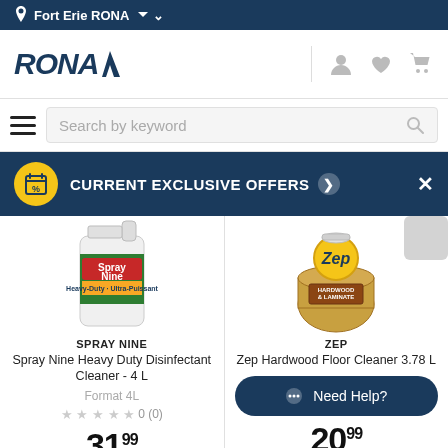Fort Erie RONA
[Figure (logo): RONA logo with user, wishlist, and cart icons]
[Figure (screenshot): Search bar with hamburger menu and search by keyword input]
[Figure (infographic): Current Exclusive Offers banner with calendar/percent icon and close button]
[Figure (photo): Spray Nine Heavy Duty Disinfectant Cleaner 4L product bottle image]
[Figure (photo): Zep Hardwood Floor Cleaner 3.78L product bottle image]
SPRAY NINE
Spray Nine Heavy Duty Disinfectant Cleaner - 4 L
ZEP
Zep Hardwood Floor Cleaner 3.78 L
Format 4L
★ ★ ★ ★ ★ 0 (0)
Need Help?
3199
2099